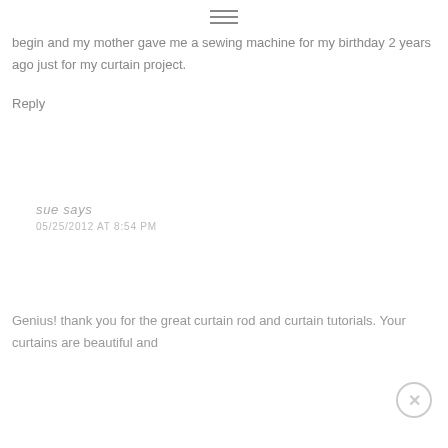≡
begin and my mother gave me a sewing machine for my birthday 2 years ago just for my curtain project.
Reply
sue says
05/25/2012 AT 8:54 PM
Genius! thank you for the great curtain rod and curtain tutorials. Your curtains are beautiful and